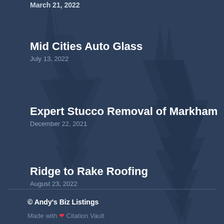Mid Cities Auto Glass
July 13, 2022
Expert Stucco Removal of Markham
December 22, 2021
Ridge to Rake Roofing
August 23, 2022
© Andy's Biz Listings
Made with ❤ Citation Vault